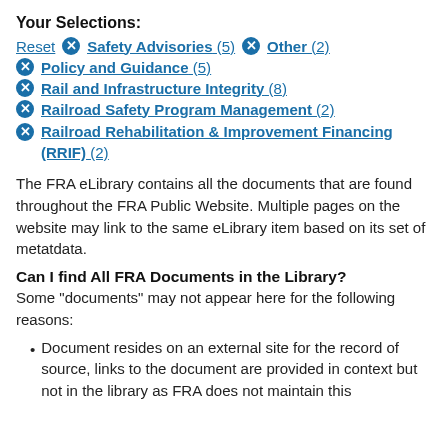Your Selections:
Reset  ⊗ Safety Advisories (5)  ⊗ Other (2)
⊗ Policy and Guidance (5)
⊗ Rail and Infrastructure Integrity (8)
⊗ Railroad Safety Program Management (2)
⊗ Railroad Rehabilitation & Improvement Financing (RRIF) (2)
The FRA eLibrary contains all the documents that are found throughout the FRA Public Website. Multiple pages on the website may link to the same eLibrary item based on its set of metatdata.
Can I find All FRA Documents in the Library?
Some "documents" may not appear here for the following reasons:
Document resides on an external site for the record of source, links to the document are provided in context but not in the library as FRA does not maintain this